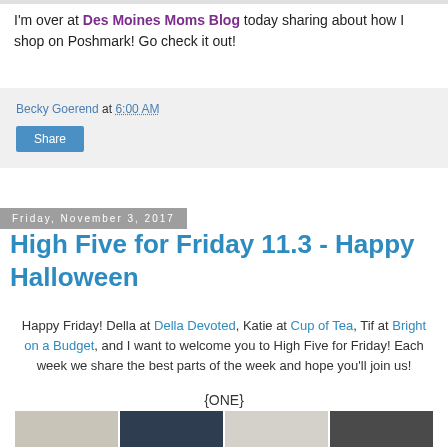I'm over at Des Moines Moms Blog today sharing about how I shop on Poshmark! Go check it out!
Becky Goerend at 6:00 AM
Share
Friday, November 3, 2017
High Five for Friday 11.3 - Happy Halloween
Happy Friday! Della at Della Devoted, Katie at Cup of Tea, Tif at Bright on a Budget, and I want to welcome you to High Five for Friday! Each week we share the best parts of the week and hope you'll join us!
{ONE}
[Figure (photo): Row of partial thumbnail images at the bottom of the page]